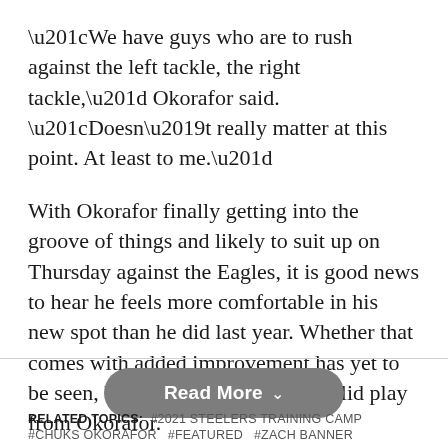“We have guys who are to rush against the left tackle, the right tackle,” Okorafor said. “Doesn’t really matter at this point. At least to me.”
With Okorafor finally getting into the groove of things and likely to suit up on Thursday against the Eagles, it is good news to hear he feels more comfortable in his new spot than he did last year. Whether that comes with added improvement has yet to be seen, but it will be vital to get solid play from Okorafor.
Read More
RELATED TOPICS: #2021 STEELERS TRAINING CAMP #CHUKS OKORAFOR #FEATURED #ZACH BANNER